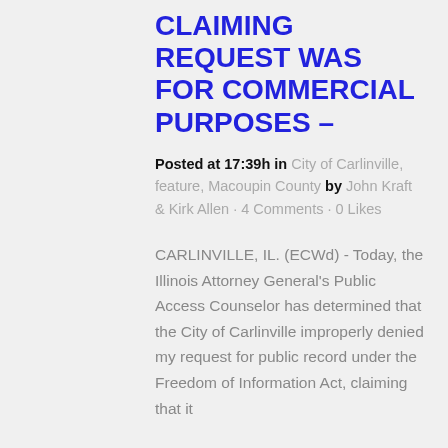CLAIMING REQUEST WAS FOR COMMERCIAL PURPOSES –
Posted at 17:39h in City of Carlinville, feature, Macoupin County by John Kraft & Kirk Allen · 4 Comments · 0 Likes
CARLINVILLE, IL. (ECWd) - Today, the Illinois Attorney General's Public Access Counselor has determined that the City of Carlinville improperly denied my request for public record under the Freedom of Information Act, claiming that it